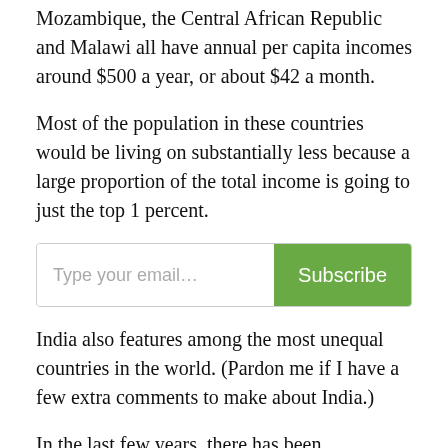Mozambique, the Central African Republic and Malawi all have annual per capita incomes around $500 a year, or about $42 a month.
Most of the population in these countries would be living on substantially less because a large proportion of the total income is going to just the top 1 percent.
[Figure (other): Email subscription box with placeholder text 'Type your email...' and a green 'Subscribe' button]
India also features among the most unequal countries in the world. (Pardon me if I have a few extra comments to make about India.)
In the last few years, there has been considerable concern about how the gains of India's growth